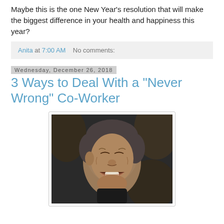Maybe this is the one New Year's resolution that will make the biggest difference in your health and happiness this year?
Anita at 7:00 AM   No comments:
Wednesday, December 26, 2018
3 Ways to Deal With a "Never Wrong" Co-Worker
[Figure (photo): Black and white close-up photo of a middle-aged man laughing or shouting, head tilted back, mouth open, with dark background foliage.]